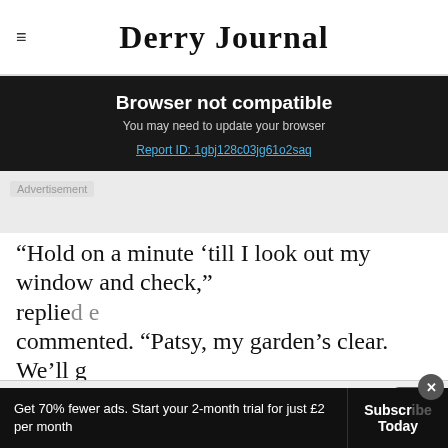Derry Journal
Browser not compatible
You may need to update your browser
Report ID: 1gbj128c03jg61o2saq
[Figure (screenshot): Grey advertisement placeholder area]
Advertisement
“Hold on a minute ‘till I look out my window and check,” replied... commented. “Patsy, my garden’s clear. We’ll g
Get 70% fewer ads. Start your 2-month trial for just £2 per month
Subscribe Today